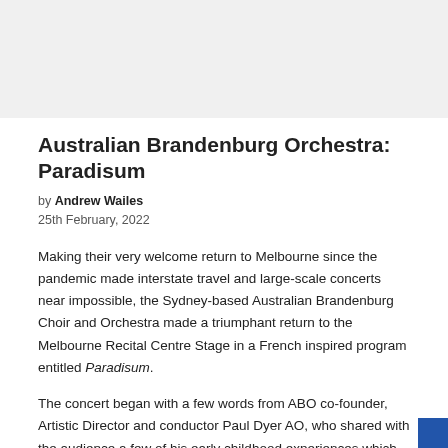[Figure (photo): Gray rectangular image area at the top of the page, representing a placeholder or image banner]
Australian Brandenburg Orchestra: Paradisum
by Andrew Wailes
25th February, 2022
Making their very welcome return to Melbourne since the pandemic made interstate travel and large-scale concerts near impossible, the Sydney-based Australian Brandenburg Choir and Orchestra made a triumphant return to the Melbourne Recital Centre Stage in a French inspired program entitled Paradisum.
The concert began with a few words from ABO co-founder, Artistic Director and conductor Paul Dyer AO, who shared with the audience a few of his early childhood experiences which indirectly had inspired this carefully curated program. Firstly, he recalled performing the Fauré Requiem as a treble, aged just 11, and then recounted a visit to Paris